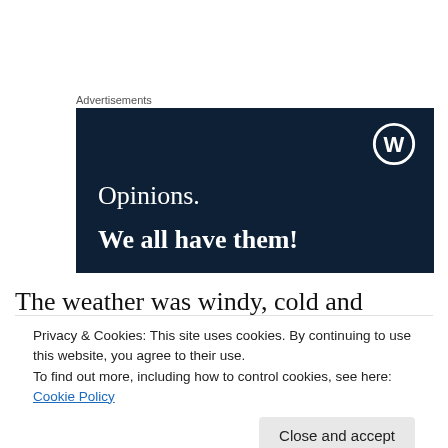Advertisements
[Figure (illustration): WordPress advertisement banner with dark navy blue background. Shows WordPress logo (circle W) in top right corner. Text reads 'Opinions.' in normal weight and 'We all have them!' in bold white serif font.]
The weather was windy, cold and cloudy and the blue-
Privacy & Cookies: This site uses cookies. By continuing to use this website, you agree to their use.
To find out more, including how to control cookies, see here: Cookie Policy
the long drive to the beach, I took their photo and they